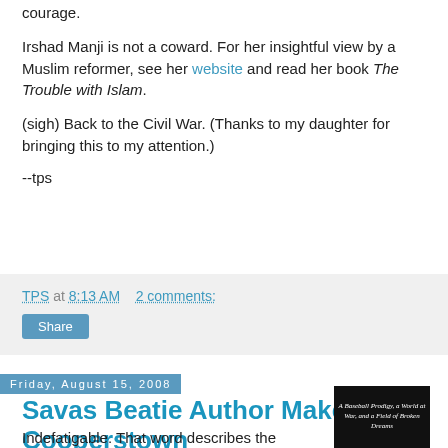courage.
Irshad Manji is not a coward. For her insightful view by a Muslim reformer, see her website and read her book The Trouble with Islam.
(sigh) Back to the Civil War. (Thanks to my daughter for bringing this to my attention.)
--tps
TPS at 8:13 AM    2 comments:
Share
Friday, August 15, 2008
Savas Beatie Author Makes it to Cooperstown
Indefatigable. That word describes the
[Figure (photo): Book cover showing 'A Baseball Prodigy, a World at War, and a Field of Broken Dreams']